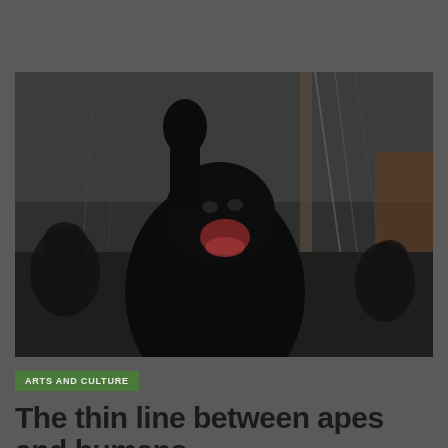[Figure (photo): A dark, dramatic photo of an ape (Caesar from Rise of the Planet of the Apes) with fist raised and mouth open in a roar, on a bridge with other apes in the background]
ARTS AND CULTURE
The thin line between apes and humans